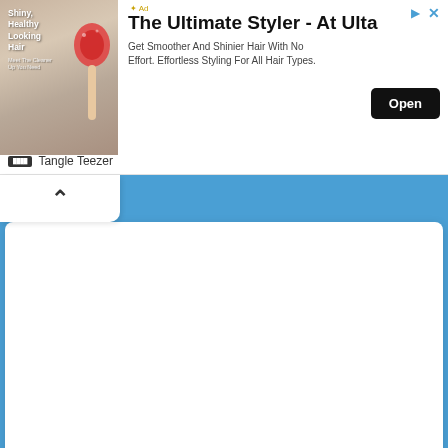[Figure (screenshot): Advertisement banner for Tangle Teezer hair brush at Ulta Beauty. Shows a hairbrush image on the left, headline 'The Ultimate Styler - At Ulta', body text 'Get Smoother And Shinier Hair With No Effort. Effortless Styling For All Hair Types.', an 'Open' button, and 'Tangle Teezer' brand name at bottom left.]
[Figure (screenshot): A collapsed/minimized UI panel with a chevron-up (^) button indicating a collapsible content area, shown with white rounded tab on blue background.]
Similar sites like metacritic.com
[Figure (screenshot): Screenshot thumbnail of the Metacritic website showing dark navigation bar with logo, search bar, nav items (GAMES, MOVIES, TV, MUSIC), and a Sign In button.]